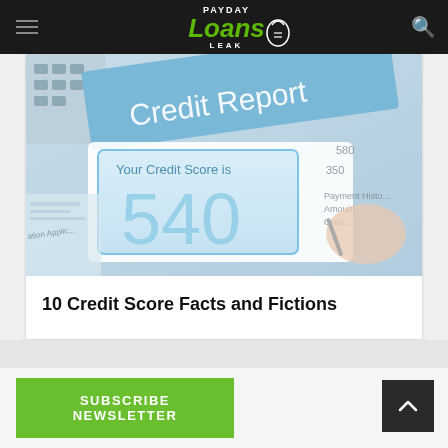Payday Loans Leak
[Figure (photo): Photo of a credit report document showing 'Your Credit Score is 540' with a hand holding a pen, and a laptop keyboard visible in the background.]
10 Credit Score Facts and Fictions
SUBSCRIBE NEWSLETTER